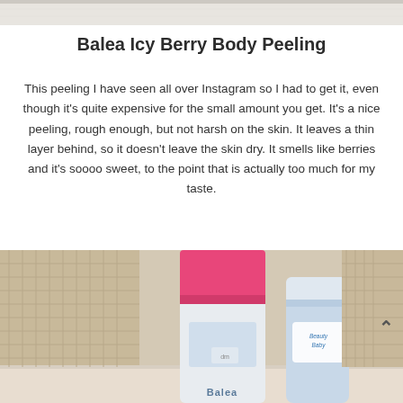[Figure (photo): Top portion of a product photo, slightly cropped, showing a light background with subtle texture]
Balea Icy Berry Body Peeling
This peeling I have seen all over Instagram so I had to get it, even though it's quite expensive for the small amount you get. It's a nice peeling, rough enough, but not harsh on the skin. It leaves a thin layer behind, so it doesn't leave the skin dry. It smells like berries and it's soooo sweet, to the point that is actually too much for my taste.
[Figure (photo): Photo of beauty/body care products - a pink-capped white bottle (Balea product) and a smaller blue bottle labeled Beauty Baby, set against a wicker basket background]